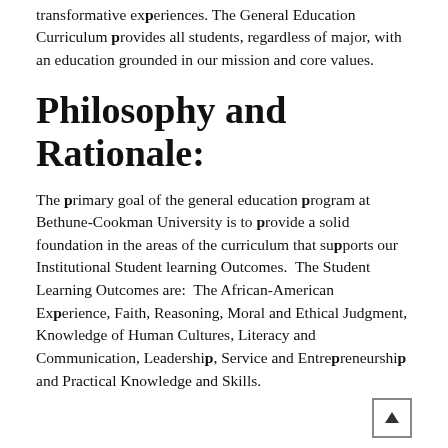transformative experiences. The General Education Curriculum provides all students, regardless of major, with an education grounded in our mission and core values.
Philosophy and Rationale:
The primary goal of the general education program at Bethune-Cookman University is to provide a solid foundation in the areas of the curriculum that supports our Institutional Student learning Outcomes. The Student Learning Outcomes are: The African-American Experience, Faith, Reasoning, Moral and Ethical Judgment, Knowledge of Human Cultures, Literacy and Communication, Leadership, Service and Entrepreneurship and Practical Knowledge and Skills.